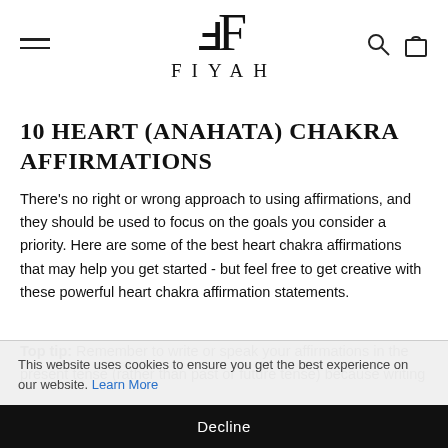FIYAH
10 HEART (ANAHATA) CHAKRA AFFIRMATIONS
There's no right or wrong approach to using affirmations, and they should be used to focus on the goals you consider a priority. Here are some of the best heart chakra affirmations that may help you get started - but feel free to get creative with these powerful heart chakra affirmation statements.
Top tip: Remember to write or speak your affirmations in the present tense (rather than past or future tense) because writing
This website uses cookies to ensure you get the best experience on our website. Learn More
Decline